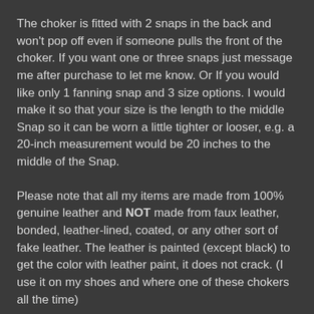The choker is fitted with 2 snaps in the back and won't pop off even if someone pulls the front of the choker. If you want one or three snaps just message me after purchase to let me know. Or If you would like only 1 fanning snap and 3 size options. I would make it so that your size is the length to the middle Snap so it can be worn a little tighter or looser, e.g. a 20-inch measurement would be 20 inches to the middle of the Snap.
Please note that all my items are made from 100% genuine leather and NOT made from faux leather, bonded, leather-lined, coated, or any other sort of fake leather. The leather is painted (except black) to get the color with leather paint, it does not crack. (I use it on my shoes and where one of these chokers all the time)
As all my items are hand made my leed time is up to 2 weeks for me to ship out, but items are usually sent out within a couple of days (depending on how busy my...